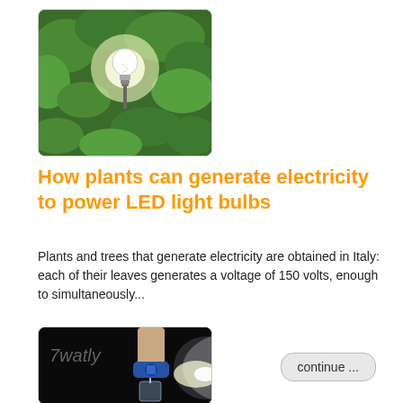[Figure (photo): A glowing LED light bulb surrounded by green leafy plants/trees, set outdoors]
How plants can generate electricity to power LED light bulbs
Plants and trees that generate electricity are obtained in Italy: each of their leaves generates a voltage of 150 volts, enough to simultaneously...
continue ...
[Figure (photo): A hand holding a blue valve or connector with a bright light beam, text '7watly' visible, dark background with glass container below]